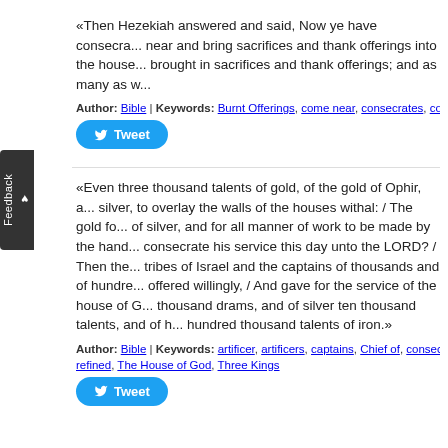«Then Hezekiah answered and said, Now ye have consec... near and bring sacrifices and thank offerings into the house... brought in sacrifices and thank offerings; and as many as w...
Author: Bible | Keywords: Burnt Offerings, come near, consecrates, consecrating, Hezekia...
[Figure (other): Tweet button (Twitter/X share button, blue rounded rectangle with bird icon and 'Tweet' text)]
«Even three thousand talents of gold, of the gold of Ophir, a... silver, to overlay the walls of the houses withal: / The gold fo... of silver, and for all manner of work to be made by the hand... consecrate his service this day unto the LORD? / Then the... tribes of Israel and the captains of thousands and of hundre... offered willingly, / And gave for the service of the house of G... thousand drams, and of silver ten thousand talents, and of h... hundred thousand talents of iron.»
Author: Bible | Keywords: artificer, artificers, captains, Chief of, consecrates, consecrating... refined, The House of God, Three Kings
[Figure (other): Tweet button (Twitter/X share button, blue rounded rectangle with bird icon and 'Tweet' text)]